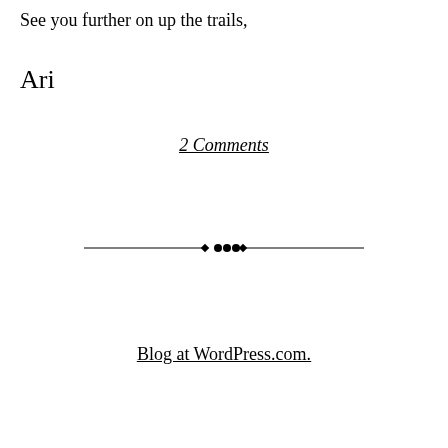See you further on up the trails,
Ari
2 Comments
[Figure (illustration): Decorative horizontal divider with diamond/dot ornament in the center and thin lines extending to both sides]
Blog at WordPress.com.